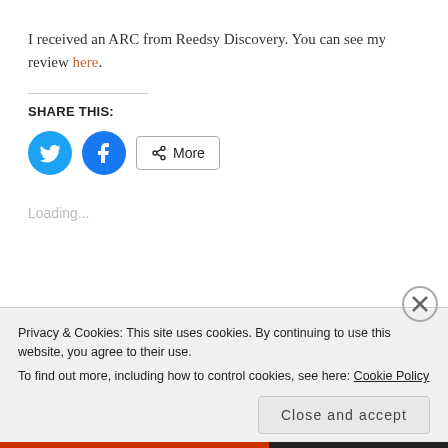I received an ARC from Reedsy Discovery. You can see my review here.
SHARE THIS:
[Figure (infographic): Share buttons: Twitter (blue circle with bird icon), Facebook (blue circle with f icon), and a More button with share icon]
Loading...
Privacy & Cookies: This site uses cookies. By continuing to use this website, you agree to their use.
To find out more, including how to control cookies, see here: Cookie Policy
Close and accept